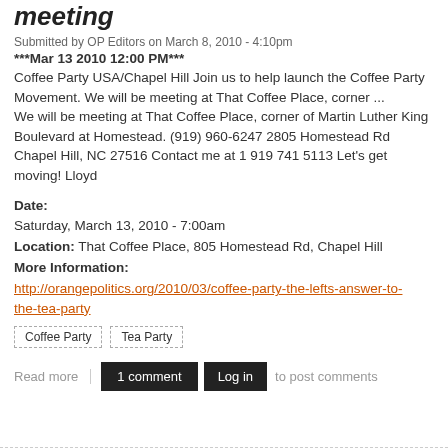meeting
Submitted by OP Editors on March 8, 2010 - 4:10pm
***Mar 13 2010 12:00 PM*** Coffee Party USA/Chapel Hill Join us to help launch the Coffee Party Movement. We will be meeting at That Coffee Place, corner ... We will be meeting at That Coffee Place, corner of Martin Luther King Boulevard at Homestead. (919) 960-6247 2805 Homestead Rd Chapel Hill, NC 27516 Contact me at 1 919 741 5113 Let's get moving! Lloyd
Date:
Saturday, March 13, 2010 - 7:00am
Location: That Coffee Place, 805 Homestead Rd, Chapel Hill
More Information:
http://orangepolitics.org/2010/03/coffee-party-the-lefts-answer-to-the-tea-party
Coffee Party
Tea Party
Read more | 1 comment | Log in to post comments